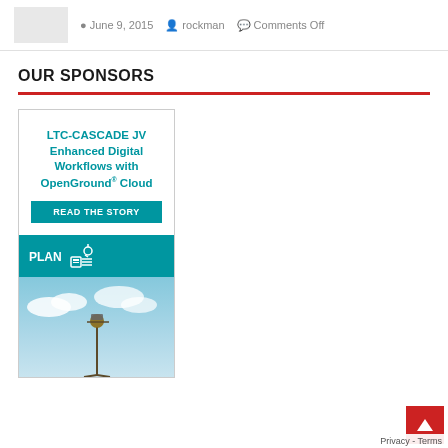June 9, 2015   rockman   Comments Off
OUR SPONSORS
[Figure (illustration): Sponsor advertisement for LTC-CASCADE JV featuring Enhanced Digital Workflows with OpenGround Cloud, a teal READ THE STORY button, a PLAN section with icon, and a photo of a surveyor against a blue sky.]